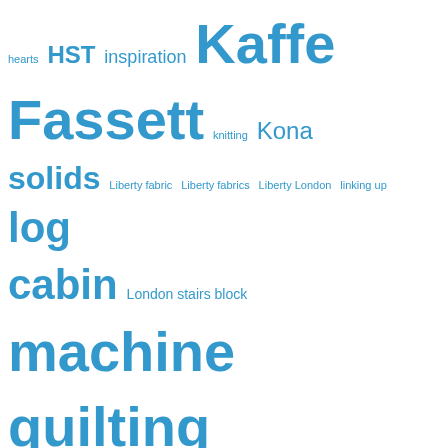[Figure (other): Tag cloud of quilting/crafting related terms in varying sizes in blue color. Larger tags indicate higher frequency: machine quilting, Kaffe Fassett, quilting, log cabin, new stash, thread, sandwich, table runner, stash, pillow case, pillow covers, quilted cushion covers, photos, nine patch block, HST. Smaller tags include hearts, inspiration, knitting, Kona solids, Liberty fabric, Liberty fabrics, Liberty London, linking up, London stairs block, mettler thread, MINI pattern, MINI tutorial, modern quilt, modern sampler quilt, nativity scenes, nature, organic cotton, paper piecing, patchwork, patchwork top, pdf tutorial, pieced letters, pinning, Prague, QAYG, quilt along, quilted pillow covers, quilt throw, quilt top, sampler quilt, scrappy quilt, small projects, summer sampler 2019, SummerSampler2019, sunrise, tana lawn cottons, travel, tutorial, twister, walking foot, yarn.]